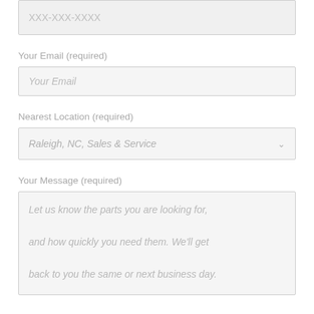XXX-XXX-XXXX
Your Email (required)
Your Email
Nearest Location (required)
Raleigh, NC, Sales & Service
Your Message (required)
Let us know the parts you are looking for, and how quickly you need them. We'll get back to you the same or next business day.